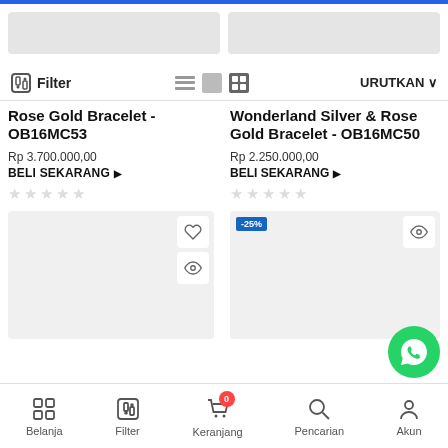[Figure (screenshot): E-commerce product listing page in Indonesian showing bracelets with filter bar, product cards, and bottom navigation]
Filter
URUTKAN
Rose Gold Bracelet - OB16MC53
Rp 3.700.000,00
BELI SEKARANG
Wonderland Silver & Rose Gold Bracelet - OB16MC50
Rp 2.250.000,00
BELI SEKARANG
Belanja   Filter   Keranjang   Pencarian   Akun